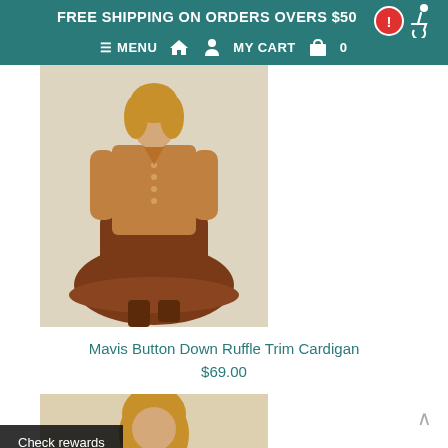FREE SHIPPING ON ORDERS OVERS $50
≡ MENU  🏠  👤  MY CART  🛍  0
[Figure (photo): Woman wearing a camel/tan button-down ruffle trim cardigan over a rust-brown tiered midi skirt with brown boots, posing on a neutral background.]
Mavis Button Down Ruffle Trim Cardigan
$69.00
[Figure (photo): Partial view of a second product photo showing a model with blonde hair, cropped at the top of the page.]
Check rewards